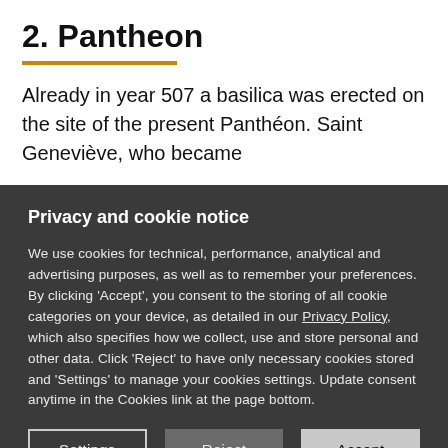2. Pantheon
Already in year 507 a basilica was erected on the site of the present Panthéon. Saint Geneviève, who became
Privacy and cookie notice
We use cookies for technical, performance, analytical and advertising purposes, as well as to remember your preferences. By clicking 'Accept', you consent to the storing of all cookie categories on your device, as detailed in our Privacy Policy, which also specifies how we collect, use and store personal and other data. Click 'Reject' to have only necessary cookies stored and 'Settings' to manage your cookies settings. Update consent anytime in the Cookies link at the page bottom.
Settings | Reject | Accept